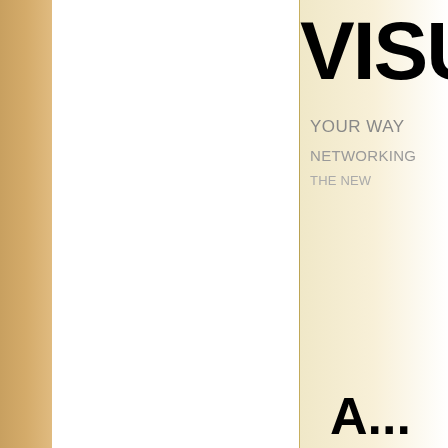[Figure (photo): Book cover photograph showing two open books side by side. The left book is largely blank/white pages with a brown/tan spine on the far left. The right book shows partial text reading 'VISU' in large bold black letters at the top, with smaller subtitle text below it, and partial large text at the bottom. The image is blurred/out-of-focus.]